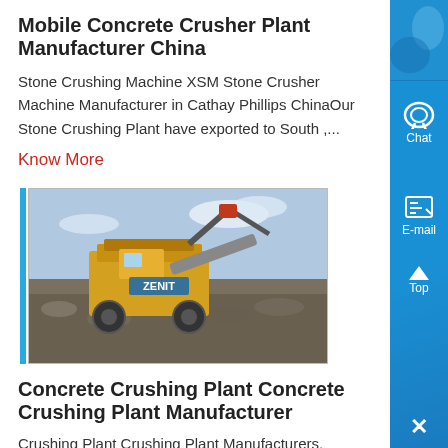Mobile Concrete Crusher Plant Manufacturer China
Stone Crushing Machine XSM Stone Crusher Machine Manufacturer in Cathay Phillips ChinaOur Stone Crushing Plant have exported to South ,...
Know More
[Figure (photo): Photo of a concrete/stone crushing plant machine (ZENIT branded) with rubble and a crane/excavator in the background.]
Concrete Crushing Plant Concrete Crushing Plant Manufacturer
Crushing Plant Crushing Plant Manufacturers, Suppliers crushing plant page 2 find products from 442 manufacturers suppliers at ec21 choose quality crushing ....
Know More